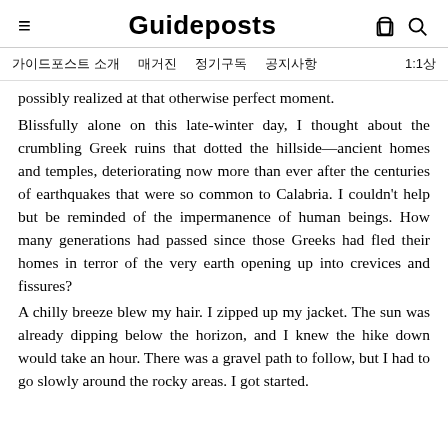Guideposts
가이드포스트 소개   매거진   정기구독   공지사항   1:1상
possibly realized at that otherwise perfect moment.
Blissfully alone on this late-winter day, I thought about the crumbling Greek ruins that dotted the hillside—ancient homes and temples, deteriorating now more than ever after the centuries of earthquakes that were so common to Calabria. I couldn't help but be reminded of the impermanence of human beings. How many generations had passed since those Greeks had fled their homes in terror of the very earth opening up into crevices and fissures?
A chilly breeze blew my hair. I zipped up my jacket. The sun was already dipping below the horizon, and I knew the hike down would take an hour. There was a gravel path to follow, but I had to go slowly around the rocky areas. I got started.